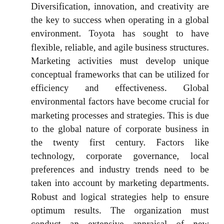Diversification, innovation, and creativity are the key to success when operating in a global environment. Toyota has sought to have flexible, reliable, and agile business structures. Marketing activities must develop unique conceptual frameworks that can be utilized for efficiency and effectiveness. Global environmental factors have become crucial for marketing processes and strategies. This is due to the global nature of corporate business in the twenty first century. Factors like technology, corporate governance, local preferences and industry trends need to be taken into account by marketing departments. Robust and logical strategies help to ensure optimum results. The organization must conduct an extensive appraisal of new business markets. Toyota’s core competency has been its ability to develop automobiles that have superior quality. The competitive prices of the company’s products mean